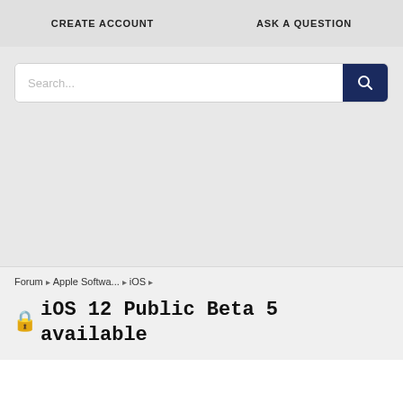CREATE ACCOUNT   ASK A QUESTION
[Figure (screenshot): Search bar with text input placeholder 'Search...' and a dark navy blue search button with magnifying glass icon]
Forum › Apple Softwa... › iOS ›
🔒 iOS 12 Public Beta 5 available